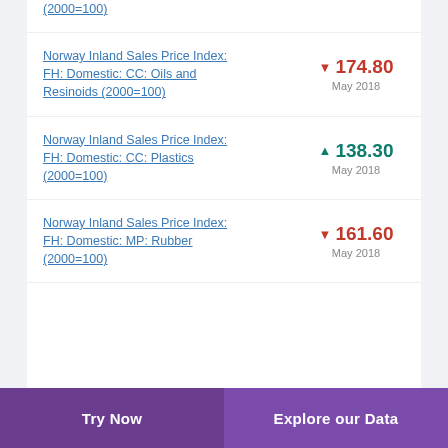(2000=100)
Norway Inland Sales Price Index: FH: Domestic: CC: Oils and Resinoids (2000=100) ▼ 174.80 May 2018
Norway Inland Sales Price Index: FH: Domestic: CC: Plastics (2000=100) ▲ 138.30 May 2018
Norway Inland Sales Price Index: FH: Domestic: MP: Rubber (2000=100) ▼ 161.60 May 2018
Try Now   Explore our Data